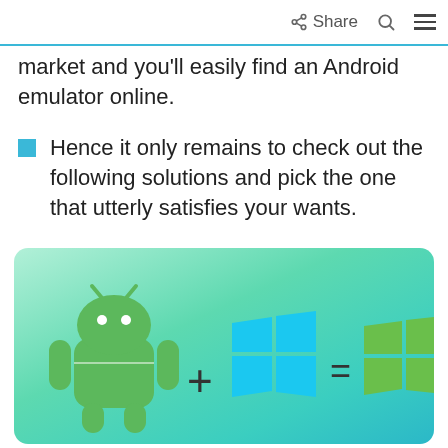Share
market and you'll easily find an Android emulator online.
Hence it only remains to check out the following solutions and pick the one that utterly satisfies your wants.
[Figure (illustration): Green gradient background card showing Android robot logo + Windows logo = green Windows logo, representing Android emulation on Windows.]